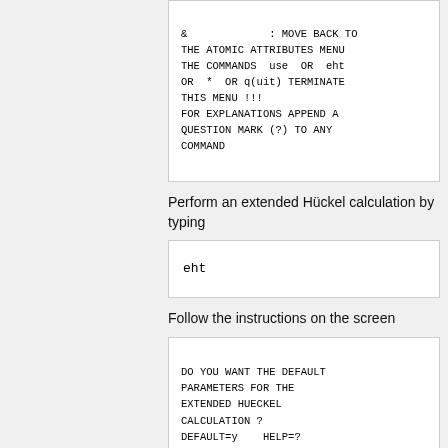& : MOVE BACK TO THE ATOMIC ATTRIBUTES MENU THE COMMANDS use OR eht OR * OR q(uit) TERMINATE THIS MENU !!! FOR EXPLANATIONS APPEND A QUESTION MARK (?) TO ANY COMMAND
Perform an extended Hückel calculation by typing
eht
Follow the instructions on the screen
DO YOU WANT THE DEFAULT PARAMETERS FOR THE EXTENDED HUECKEL CALCULATION ? DEFAULT=y    HELP=?